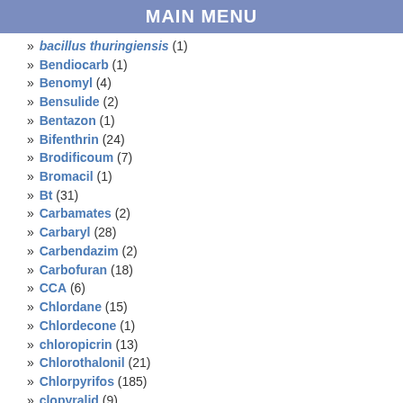MAIN MENU
» bacillus thuringiensis (1)
» Bendiocarb (1)
» Benomyl (4)
» Bensulide (2)
» Bentazon (1)
» Bifenthrin (24)
» Brodificoum (7)
» Bromacil (1)
» Bt (31)
» Carbamates (2)
» Carbaryl (28)
» Carbendazim (2)
» Carbofuran (18)
» CCA (6)
» Chlordane (15)
» Chlordecone (1)
» chloropicrin (13)
» Chlorothalonil (21)
» Chlorpyrifos (185)
» clopyralid (9)
» Clothianidin (111)
» Compound 1080 (2)
» copper sulfate (1)
» Coumaphos (7)